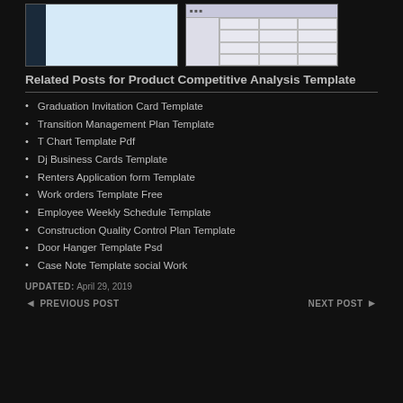[Figure (screenshot): Two thumbnail images of document templates side by side]
Related Posts for Product Competitive Analysis Template
Graduation Invitation Card Template
Transition Management Plan Template
T Chart Template Pdf
Dj Business Cards Template
Renters Application form Template
Work orders Template Free
Employee Weekly Schedule Template
Construction Quality Control Plan Template
Door Hanger Template Psd
Case Note Template social Work
UPDATED: April 29, 2019
◄ PREVIOUS POST    NEXT POST ►